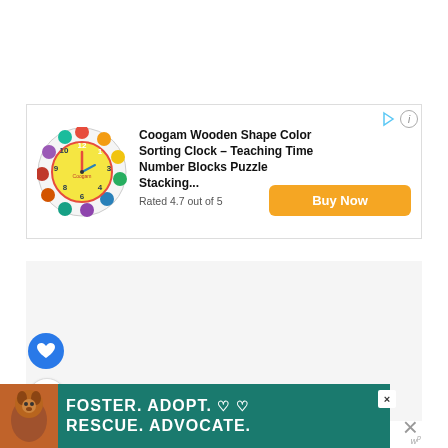[Figure (infographic): Advertisement banner for Coogam Wooden Shape Color Sorting Clock toy with image of colorful wooden clock puzzle, product title, rating, and Buy Now button]
[Figure (infographic): Bottom advertisement banner: FOSTER. ADOPT. RESCUE. ADVOCATE. with image of a dog on teal background, with close and share icons]